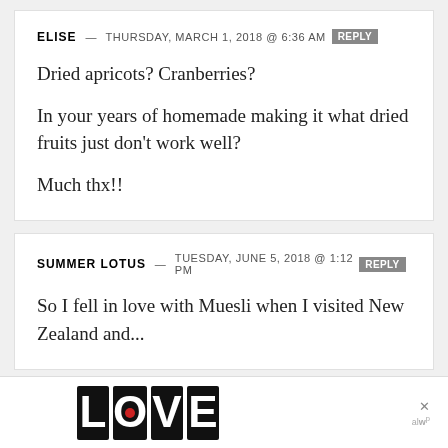ELISE — THURSDAY, MARCH 1, 2018 @ 6:36 AM  REPLY
Dried apricots? Cranberries?

In your years of homemade making it what dried fruits just don't work well?

Much thx!!
SUMMER LOTUS — TUESDAY, JUNE 5, 2018 @ 1:12 PM  REPLY
So I fell in love with Muesli when I visited New Zealand and...
[Figure (advertisement): LOVE decorative text advertisement with close button and logo at bottom of page]